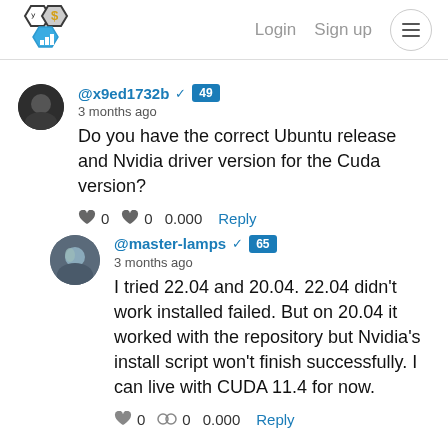Login  Sign up
@x9ed1732b ✓ 49
3 months ago
Do you have the correct Ubuntu release and Nvidia driver version for the Cuda version?
♥ 0  ♥ 0  0.000  Reply
@master-lamps ✓ 65
3 months ago
I tried 22.04 and 20.04. 22.04 didn't work installed failed. But on 20.04 it worked with the repository but Nvidia's install script won't finish successfully. I can live with CUDA 11.4 for now.
♥ 0  ♥ 0  0.000  Reply